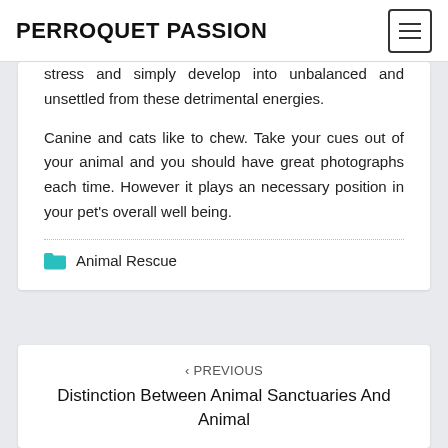PERROQUET PASSION
stress and simply develop into unbalanced and unsettled from these detrimental energies.
Canine and cats like to chew. Take your cues out of your animal and you should have great photographs each time. However it plays an necessary position in your pet’s overall well being.
Animal Rescue
‹ PREVIOUS
Distinction Between Animal Sanctuaries And Animal